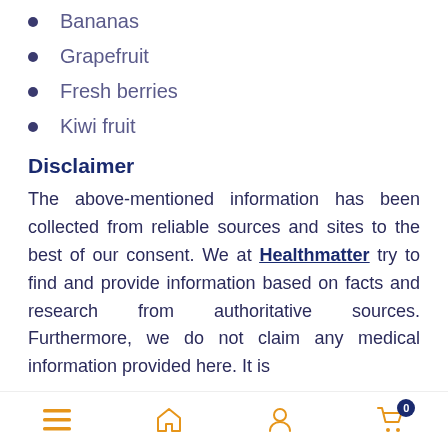Bananas
Grapefruit
Fresh berries
Kiwi fruit
Disclaimer
The above-mentioned information has been collected from reliable sources and sites to the best of our consent. We at Healthmatter try to find and provide information based on facts and research from authoritative sources. Furthermore, we do not claim any medical information provided here. It is
Navigation bar with menu, home, user, and cart icons